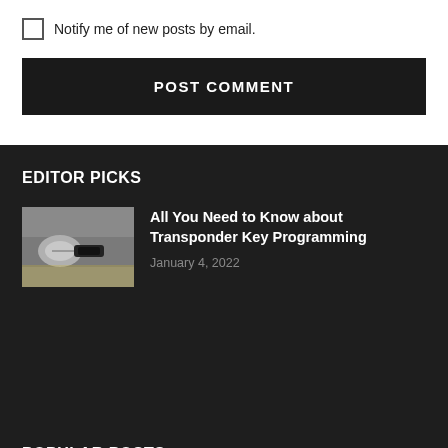Notify me of new posts by email.
POST COMMENT
EDITOR PICKS
[Figure (photo): Photo of a hand holding a transponder key near a car door handle]
All You Need to Know about Transponder Key Programming
January 4, 2022
POPULAR POSTS
[Figure (photo): Photo of a house exterior with modern home decorating]
Improve Your Home's Exterior With Some Modern Home Decorating Ideas